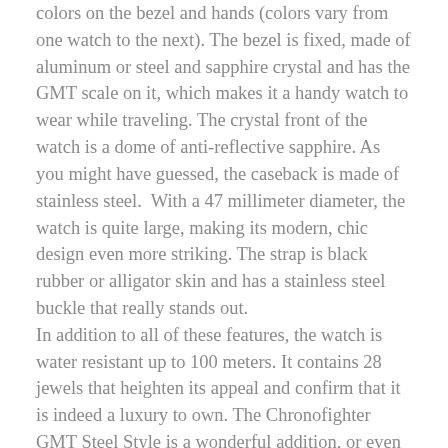colors on the bezel and hands (colors vary from one watch to the next). The bezel is fixed, made of aluminum or steel and sapphire crystal and has the GMT scale on it, which makes it a handy watch to wear while traveling. The crystal front of the watch is a dome of anti-reflective sapphire. As you might have guessed, the caseback is made of stainless steel. With a 47 millimeter diameter, the watch is quite large, making its modern, chic design even more striking. The strap is black rubber or alligator skin and has a stainless steel buckle that really stands out. In addition to all of these features, the watch is water resistant up to 100 meters. It contains 28 jewels that heighten its appeal and confirm that it is indeed a luxury to own. The Chronofighter GMT Steel Style is a wonderful addition, or even a start, to any collection of fine watches. The watch comes in such a variety of colors and appearances, from something like a strange modern architecture to watches that are reminiscent of grenades, so there's little chance you won't be able to find one you